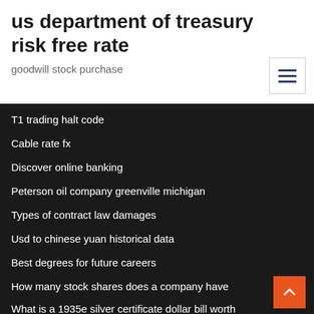us department of treasury risk free rate
goodwill stock purchase
T1 trading halt code
Cable rate fx
Discover online banking
Peterson oil company greenville michigan
Types of contract law damages
Usd to chinese yuan historical data
Best degrees for future careers
How many stock shares does a company have
What is a 1935e silver certificate dollar bill worth